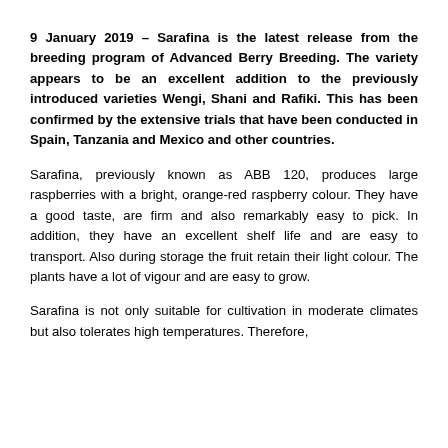9 January 2019 – Sarafina is the latest release from the breeding program of Advanced Berry Breeding. The variety appears to be an excellent addition to the previously introduced varieties Wengi, Shani and Rafiki. This has been confirmed by the extensive trials that have been conducted in Spain, Tanzania and Mexico and other countries.
Sarafina, previously known as ABB 120, produces large raspberries with a bright, orange-red raspberry colour. They have a good taste, are firm and also remarkably easy to pick. In addition, they have an excellent shelf life and are easy to transport. Also during storage the fruit retain their light colour. The plants have a lot of vigour and are easy to grow.
Sarafina is not only suitable for cultivation in moderate climates but also tolerates high temperatures. Therefore,